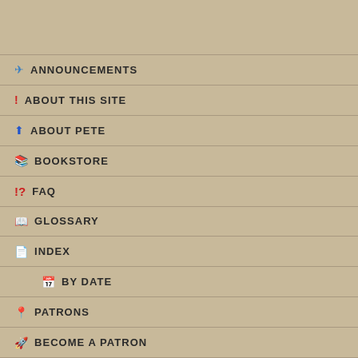ANNOUNCEMENTS
ABOUT THIS SITE
ABOUT PETE
BOOKSTORE
FAQ
GLOSSARY
INDEX
BY DATE
PATRONS
BECOME A PATRON